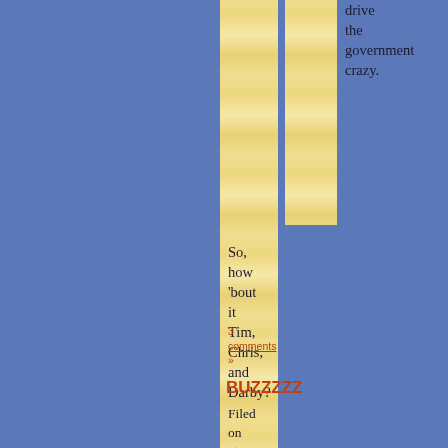drive the government crazy.
So, how 'bout it Tim, Chris, and Darby?
3 comments »
BUZZZZZ
Filed on at 2:20 pm